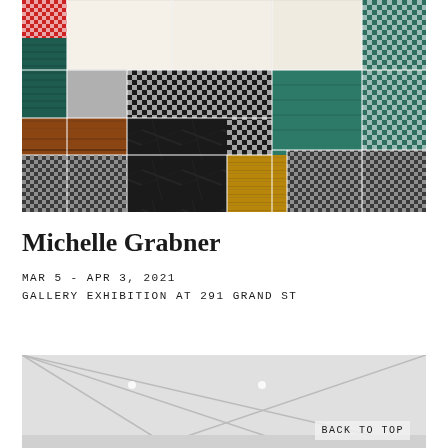[Figure (photo): Artwork consisting of a patchwork/collage of rectangular panels featuring various patterns including gingham/buffalo check fabric patterns in black and white, teal/green, colored squares, wooden surfaces, black marble, and plain cream/white panels arranged in a grid-like mosaic composition.]
Michelle Grabner
MAR 5 - APR 3, 2021
GALLERY EXHIBITION AT 291 GRAND ST
[Figure (photo): Interior gallery space showing a white room with angled ceiling lines, recessed lighting, and what appears to be a gallery exhibition installation viewed from above or at an angle.]
BACK TO TOP